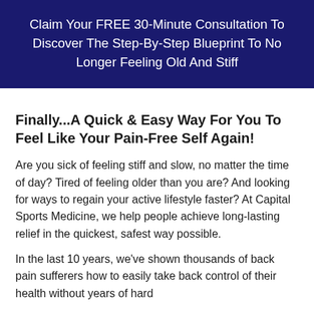Claim Your FREE 30-Minute Consultation To Discover The Step-By-Step Blueprint To No Longer Feeling Old And Stiff
Finally...A Quick & Easy Way For You To Feel Like Your Pain-Free Self Again!
Are you sick of feeling stiff and slow, no matter the time of day? Tired of feeling older than you are? And looking for ways to regain your active lifestyle faster? At Capital Sports Medicine, we help people achieve long-lasting relief in the quickest, safest way possible.
In the last 10 years, we've shown thousands of back pain sufferers how to easily take back control of their health without years of hard